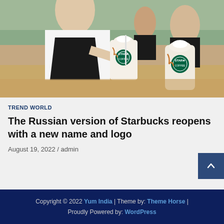[Figure (photo): Two Starbucks-branded (Stars Coffee) caramel frappuccino drinks being handed across a counter by a barista in a black apron, with another coffee drink visible in the background.]
TREND WORLD
The Russian version of Starbucks reopens with a new name and logo
August 19, 2022  /  admin
Copyright © 2022 Yum India  |  Theme by: Theme Horse  |  Proudly Powered by: WordPress